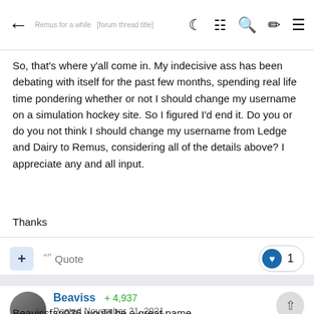← [forum navigation icons]
So, that's where y'all come in. My indecisive ass has been debating with itself for the past few months, spending real life time pondering whether or not I should change my username on a simulation hockey site. So I figured I'd end it. Do you or do you not think I should change my username from Ledge and Dairy to Remus, considering all of the details above? I appreciate any and all input.

Thanks
Beaviss  ⊕ 4,937
Posted November 21, 2021
Beavissfan036 would be a great name